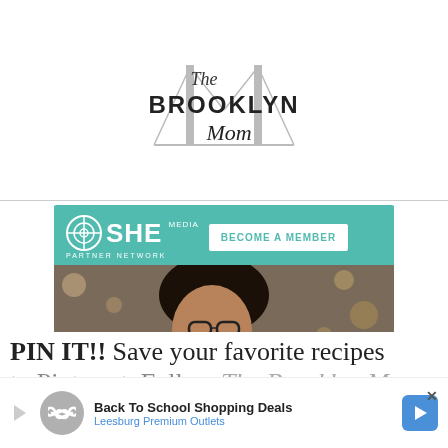[Figure (logo): The Brooklyn Mom script logo with Brooklyn Bridge illustration]
[Figure (infographic): SHE Media Partner Network advertisement banner with teal background. Shows 'BECOME A MEMBER' button, photo of smiling woman with laptop, text 'WE HELP CONTENT CREATORS GROW BUSINESSES THROUGH...' and 'LEARN MORE' button.]
PIN IT!! Save your favorite recipes to Pinterest. Follow The Brooklyn Mom
[Figure (infographic): Bottom banner ad for Back To School Shopping Deals at Leesburg Premium Outlets with infinity symbol logo and navigation arrow icon]